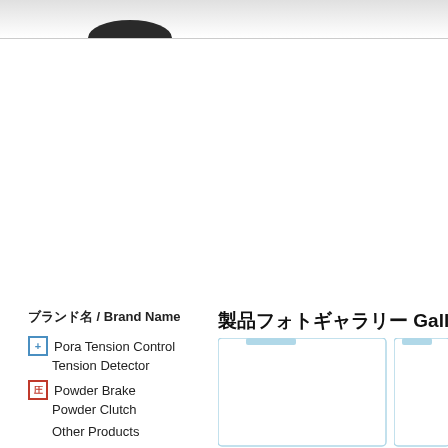[Figure (other): Top navigation bar with light gray gradient background and partial logo arc shape visible]
[Figure (other): Dark rounded horizontal bar / navigation rail with textured dark gray/black gradient]
ブランド名 / Brand Name
Pora Tension Control
Tension Detector
Powder Brake
Powder Clutch
Other Products
製品フォトギャラリー Gallery
[Figure (other): Gallery image placeholder boxes with light blue borders and tab tops]